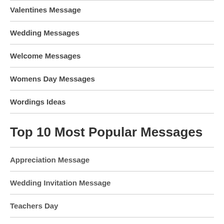Valentines Message
Wedding Messages
Welcome Messages
Womens Day Messages
Wordings Ideas
Top 10 Most Popular Messages
Appreciation Message
Wedding Invitation Message
Teachers Day
Appreciation Messages
Teachers Day Wishes